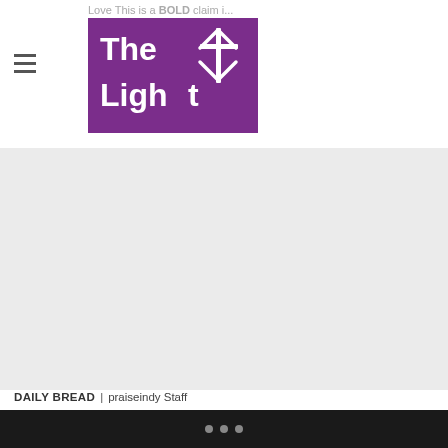Love This is a BOLD claim i...
[Figure (logo): The Light newspaper logo — white text on purple/magenta background with a starburst icon]
[Figure (other): Large advertisement or image placeholder with light grey background]
DAILY BREAD | praiseindy Staff
Bishop Hezekiah Walker's Mid-Night In White Listening Party
TBR — Richmond, VA — Saint Paul's Baptist Church recently hosted Bishop Hezekiah Walker's Mid-Night In White Listening party for his new CD on Sunday night. …